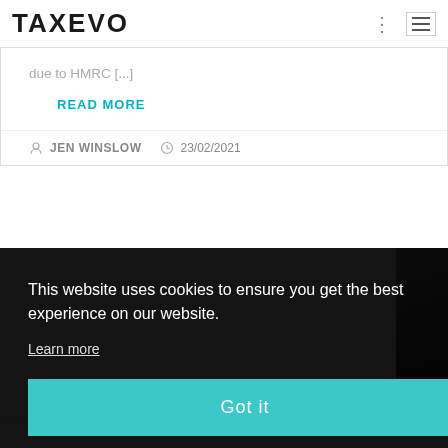TAXEVO
due to HMRC [...]
READ MORE
JEN WINSLOW  23/02/2021
This website uses cookies to ensure you get the best experience on our website.
Learn more
Got it
[Figure (photo): Partial photo of a person in dark clothing, cropped on the right side of the page]